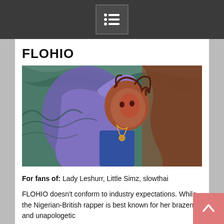FLOHIO
[Figure (illustration): Colorful pop-art style illustration of FLOHIO, a Nigerian-British rapper, wearing a purple outfit against a swirling multicolored background of teal, brown, red, and green wave patterns.]
For fans of: Lady Leshurr, Little Simz, slowthai
FLOHIO doesn't conform to industry expectations. While the Nigerian-British rapper is best known for her brazen and unapologetic